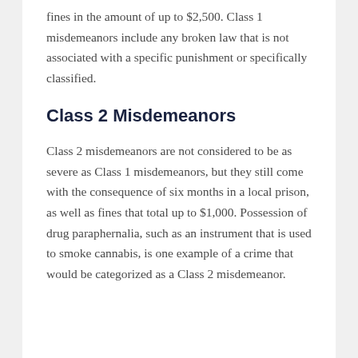fines in the amount of up to $2,500. Class 1 misdemeanors include any broken law that is not associated with a specific punishment or specifically classified.
Class 2 Misdemeanors
Class 2 misdemeanors are not considered to be as severe as Class 1 misdemeanors, but they still come with the consequence of six months in a local prison, as well as fines that total up to $1,000. Possession of drug paraphernalia, such as an instrument that is used to smoke cannabis, is one example of a crime that would be categorized as a Class 2 misdemeanor.